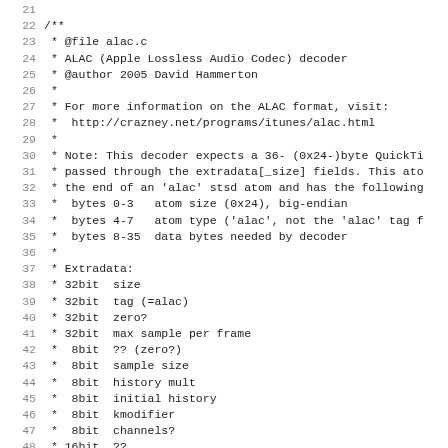Source code comment block from alac.c — ALAC (Apple Lossless Audio Codec) decoder, lines 21–52